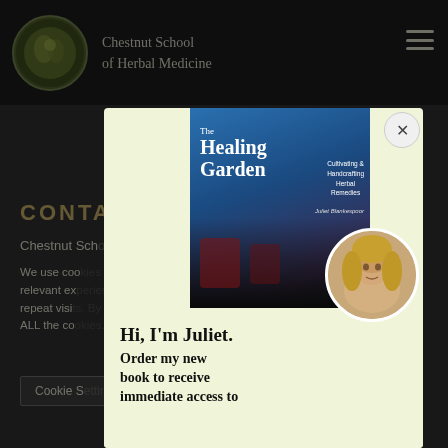Chestnut School of Herbal Medicine
CONTACT
Chestnut Sch...
We use cookies on our website to give you the most relevant experience by remembering your preferences and repeat visits. By clicking "Accept", you consent to the use of ALL the cookies.
[Figure (screenshot): Popup modal advertisement for 'The Healing Garden: Cultivating & Handcrafting Herbal Remedies' by Juliet Blankespoor. Shows book cover with herbal tea imagery and author photo. Text reads: Hi, I'm Juliet. Order my new book to receive immediate access to Healing...]
Cookie Settings